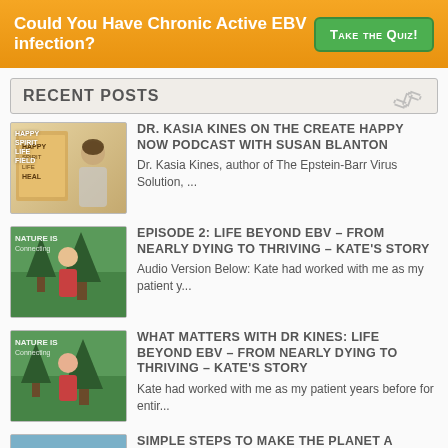Could You Have Chronic Active EBV infection?
RECENT POSTS
DR. KASIA KINES ON THE CREATE HAPPY NOW PODCAST WITH SUSAN BLANTON
Dr. Kasia Kines, author of The Epstein-Barr Virus Solution, ...
EPISODE 2: LIFE BEYOND EBV – FROM NEARLY DYING TO THRIVING – KATE'S STORY
Audio Version Below: Kate had worked with me as my patient y...
WHAT MATTERS WITH DR KINES: LIFE BEYOND EBV – FROM NEARLY DYING TO THRIVING – KATE'S STORY
Kate had worked with me as my patient years before for entir...
SIMPLE STEPS TO MAKE THE PLANET A BETTER PLACE – TO HONOR EARTH DAY
Never underestimate your power to make this planet less